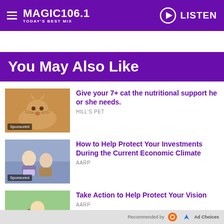MAGIC 106.1 TODAY'S BEST MIX — LISTEN
You May Also Like
[Figure (photo): Orange cat lying down, sponsored ad thumbnail]
Give your 7+ cat the nutritional support he or she needs.
HILL'S PET
[Figure (photo): Older couple looking at tablet, sponsored ad thumbnail]
How to Help Protect Your Investments During the Current Economic Climate
AARP
[Figure (photo): Woman in hammock with glasses, sponsored ad thumbnail]
Take Action to Help Protect Your Vision
AARP
Recommended by  Ad Choices